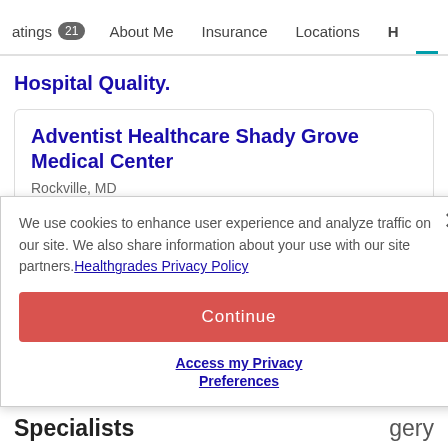atings 21  About Me  Insurance  Locations  H
Hospital Quality.
Adventist Healthcare Shady Grove Medical Center
Rockville, MD
66% — Patients that would definitely recommend
4% lower than the national average
We use cookies to enhance user experience and analyze traffic on our site. We also share information about your use with our site partners. Healthgrades Privacy Policy
Continue
Access my Privacy Preferences
gery
Specialists